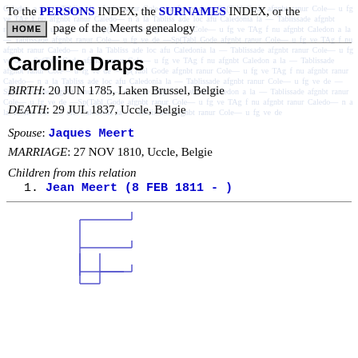To the PERSONS INDEX, the SURNAMES INDEX, or the HOME page of the Meerts genealogy
Caroline Draps
BIRTH: 20 JUN 1785, Laken Brussel, Belgie
DEATH: 29 JUL 1837, Uccle, Belgie
Spouse: Jaques Meert
MARRIAGE: 27 NOV 1810, Uccle, Belgie
Children from this relation
1. Jean Meert (8 FEB 1811 - )
[Figure (organizational-chart): Partial family tree diagram showing branching lines connecting family members, rendered in blue lines on manuscript background.]